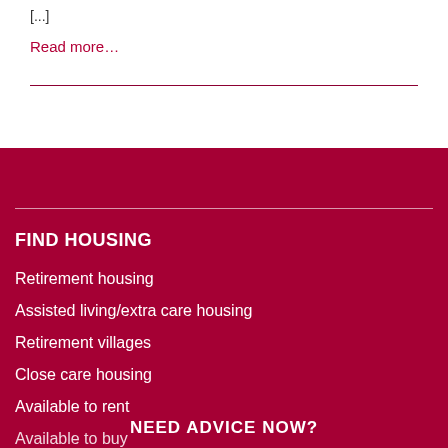[...]
Read more…
FIND HOUSING
Retirement housing
Assisted living/extra care housing
Retirement villages
Close care housing
Available to rent
Available to buy
NEED ADVICE NOW?